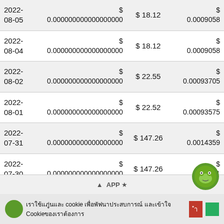| Date | Amount | Price | Value |
| --- | --- | --- | --- |
| 2022-08-05 | $ 0.000000000000000000 | $ 18.12 | $ 0.000905858 |
| 2022-08-04 | $ 0.000000000000000000 | $ 18.12 | $ 0.000905858 |
| 2022-08-02 | $ 0.000000000000000000 | $ 22.55 | $ 0.000937058 |
| 2022-08-01 | $ 0.000000000000000000 | $ 22.52 | $ 0.000935758 |
| 2022-07-31 | $ 0.000000000000000000 | $ 147.26 | $ 0.001435958 |
| 2022-07-30 | $ 0.000000000000000000 | $ 147.26 | $ 0.001... |
Cookie consent banner with Thai text and accept/decline buttons